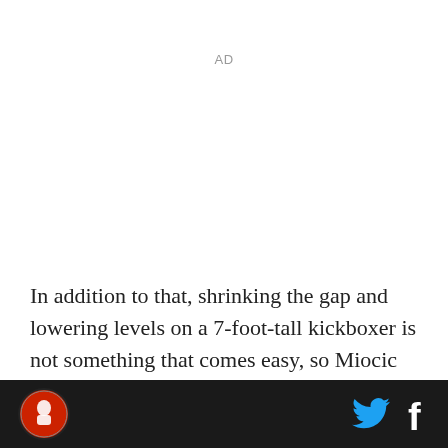AD
In addition to that, shrinking the gap and lowering levels on a 7-foot-tall kickboxer is not something that comes easy, so Miocic will have to adjust for covering such a vast amount of ground and doing so without taking damage. This will stress the importance of the footwork and angles he employs when charging into